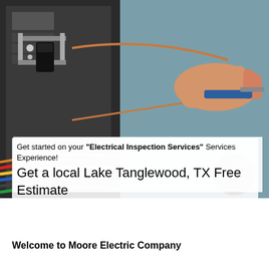[Figure (photo): Close-up photo of an electrician working on an electrical panel with wires and a multimeter, hands holding blue-handled pliers and copper wire, exposed circuit breaker panel with colorful wires.]
Get started on your "Electrical Inspection Services" Services Experience! Get a local Lake Tanglewood, TX Free Estimate
Welcome to Moore Electric Company